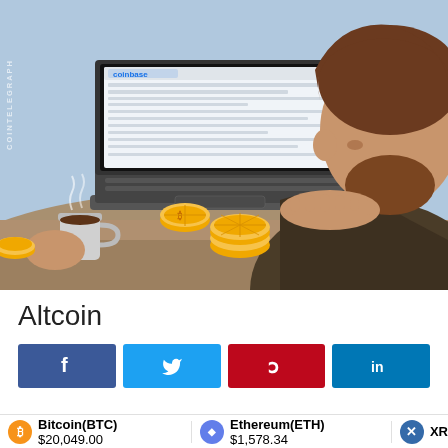[Figure (illustration): Illustration of a person with brown hair and beard sitting at a laptop showing the Coinbase website, with gold Bitcoin coins on the desk, holding a coffee cup. Cartoon/vector art style. Cointelegraph watermark on left side.]
Altcoin
[Figure (infographic): Social media sharing buttons: Facebook (dark blue with f icon), Twitter (light blue with bird icon), Pinterest (red with P icon), LinkedIn (blue with in icon)]
Bitcoin(BTC) $20,049.00   Ethereum(ETH) $1,578.34   XR...